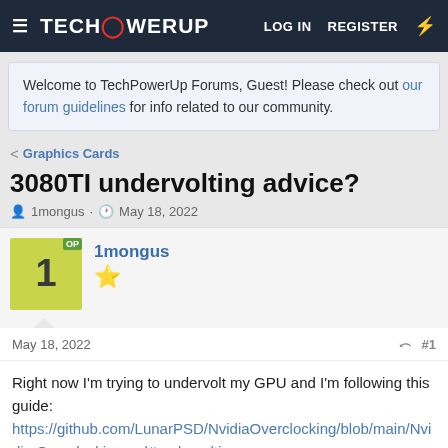TechPowerUp — LOG IN  REGISTER
Welcome to TechPowerUp Forums, Guest! Please check out our forum guidelines for info related to our community.
< Graphics Cards
3080TI undervolting advice?
1mongus · May 18, 2022
1mongus
May 18, 2022  #1
Right now I'm trying to undervolt my GPU and I'm following this guide:
https://github.com/LunarPSD/NvidiaOverclocking/blob/main/Nvidia Overclocking.md#undervolting